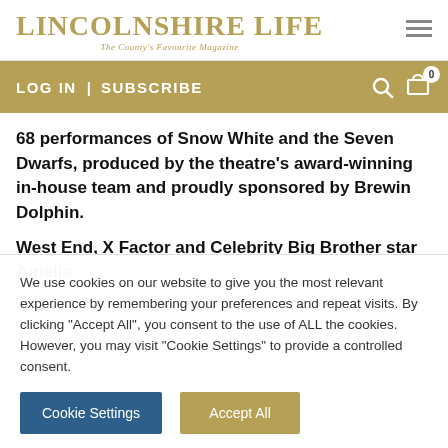LINCOLNSHIRE LIFE – The County's Favourite Magazine
LOG IN  |  SUBSCRIBE
68 performances of Snow White and the Seven Dwarfs, produced by the theatre's award-winning in-house team and proudly sponsored by Brewin Dolphin.
West End, X Factor and Celebrity Big Brother star Amelia
We use cookies on our website to give you the most relevant experience by remembering your preferences and repeat visits. By clicking "Accept All", you consent to the use of ALL the cookies. However, you may visit "Cookie Settings" to provide a controlled consent.